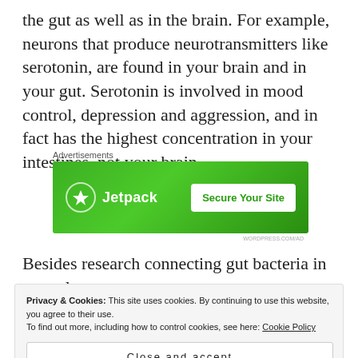the gut as well as in the brain. For example, neurons that produce neurotransmitters like serotonin, are found in your brain and in your gut. Serotonin is involved in mood control, depression and aggression, and in fact has the highest concentration in your intestines, not your brain.
Advertisements
[Figure (other): Jetpack advertisement banner with green background, Jetpack logo and bolt icon on the left, and a white 'Secure Your Site' button on the right.]
Besides research connecting gut bacteria in mental
Privacy & Cookies: This site uses cookies. By continuing to use this website, you agree to their use.
To find out more, including how to control cookies, see here: Cookie Policy
Close and accept